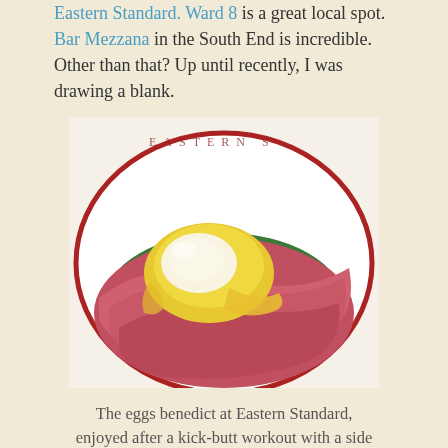Eastern Standard. Ward 8 is a great local spot. Bar Mezzana in the South End is incredible. Other than that? Up until recently, I was drawing a blank.
[Figure (photo): Close-up photo of eggs benedict at Eastern Standard restaurant — poached egg with hollandaise sauce over Canadian bacon and spinach on an English muffin, served on a white plate with red rim. The restaurant name is visible on the plate rim.]
The eggs benedict at Eastern Standard, enjoyed after a kick-butt workout with a side of session IPA.